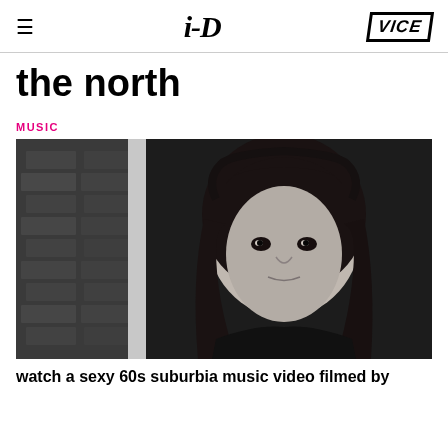i-D  VICE
the north
MUSIC
[Figure (photo): Black and white portrait photograph of a young person with long dark wavy hair, looking directly at the camera with a serious expression, standing against a dark door/wall with brick visible on the left side.]
watch a sexy 60s suburbia music video filmed by